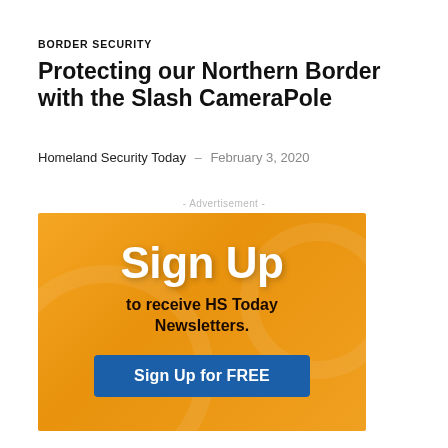BORDER SECURITY
Protecting our Northern Border with the Slash CameraPole
Homeland Security Today  –  February 3, 2020
- Advertisement -
[Figure (other): Orange advertisement banner with 'Sign Up' in large white bold text, 'to receive HS Today Newsletters.' in dark text, and a blue 'Sign Up for FREE' button.]